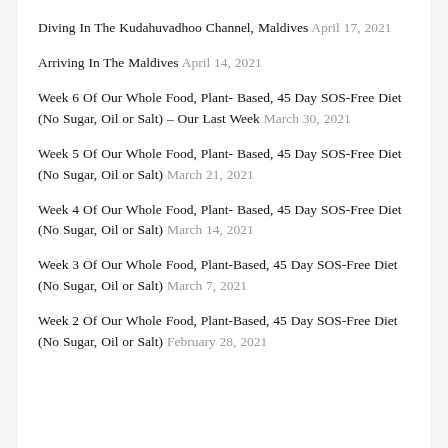Diving In The Kudahuvadhoo Channel, Maldives April 17, 2021
Arriving In The Maldives April 14, 2021
Week 6 Of Our Whole Food, Plant- Based, 45 Day SOS-Free Diet (No Sugar, Oil or Salt) – Our Last Week March 30, 2021
Week 5 Of Our Whole Food, Plant- Based, 45 Day SOS-Free Diet (No Sugar, Oil or Salt) March 21, 2021
Week 4 Of Our Whole Food, Plant- Based, 45 Day SOS-Free Diet (No Sugar, Oil or Salt) March 14, 2021
Week 3 Of Our Whole Food, Plant-Based, 45 Day SOS-Free Diet (No Sugar, Oil or Salt) March 7, 2021
Week 2 Of Our Whole Food, Plant-Based, 45 Day SOS-Free Diet (No Sugar, Oil or Salt) February 28, 2021